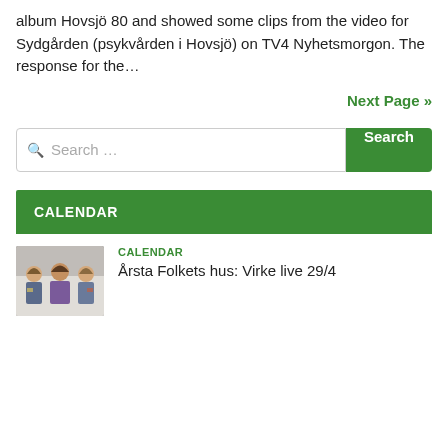album Hovsjö 80 and showed some clips from the video for Sydgården (psykvården i Hovsjö) on TV4 Nyhetsmorgon. The response for the...
Next Page »
Search …
CALENDAR
CALENDAR
Årsta Folkets hus: Virke live 29/4